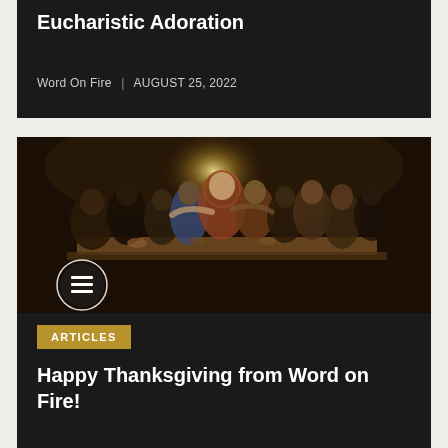Eucharistic Adoration
Word On Fire | AUGUST 25, 2022
[Figure (photo): Painting of the Last Supper with figures gathered around a table, a bright light emanating from the center figure, depicting a classical religious scene. A circular article icon overlay is visible in the bottom left of the image.]
ARTICLES
Happy Thanksgiving from Word on Fire!